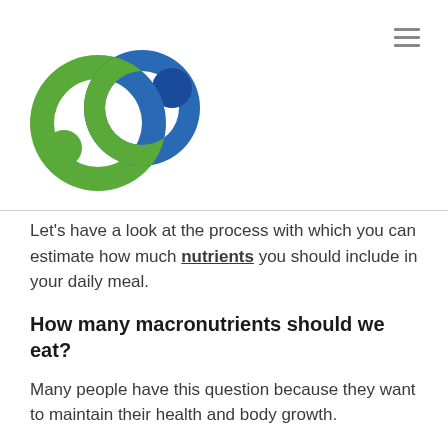[Figure (logo): Circular logo with green and blue interlocking ring shapes with small filled circles, representing a nutrition or health website brand]
Let's have a look at the process with which you can estimate how much nutrients you should include in your daily meal.
How many macronutrients should we eat?
Many people have this question because they want to maintain their health and body growth.
There are two main ways through which you can calculate the required quantity of macronutrients.
First of all, you can contact any expert nutritionist who will examine your health and give you a proper diet